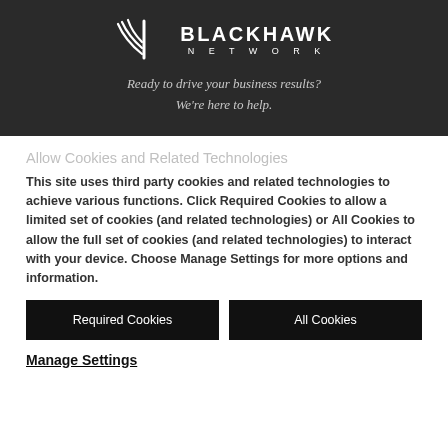[Figure (logo): Blackhawk Network logo with stylized bird/arrow wings graphic and text 'BLACKHAWK NETWORK']
Ready to drive your business results? We're here to help.
Allow Cookies and Related Technologies
This site uses third party cookies and related technologies to achieve various functions. Click Required Cookies to allow a limited set of cookies (and related technologies) or All Cookies to allow the full set of cookies (and related technologies) to interact with your device. Choose Manage Settings for more options and information.
Required Cookies
All Cookies
Manage Settings